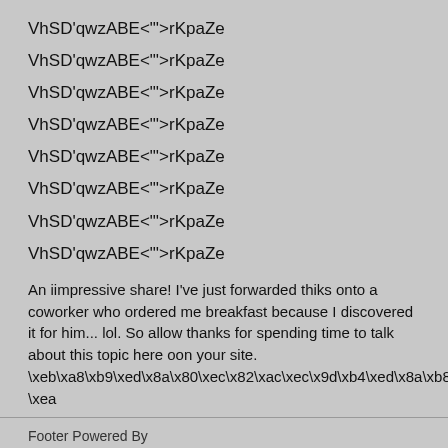VhSD'qwzABE<''>rKpaZe
VhSD'qwzABE<''>rKpaZe
VhSD'qwzABE<''>rKpaZe
VhSD'qwzABE<''>rKpaZe
VhSD'qwzABE<''>rKpaZe
VhSD'qwzABE<''>rKpaZe
VhSD'qwzABE<''>rKpaZe
VhSD'qwzABE<''>rKpaZe
An iimpressive share! I've just forwarded thiks onto a coworker who ordered me breakfast because I discovered it for him... lol. So allow thanks for spending time to talk about this topic here oon your site. \xeb\xa8\xb9\xed\x8a\x80\xec\x82\xac\xec\x9d\xb4\xed\x8a\xb8 \xea
Footer Powered By